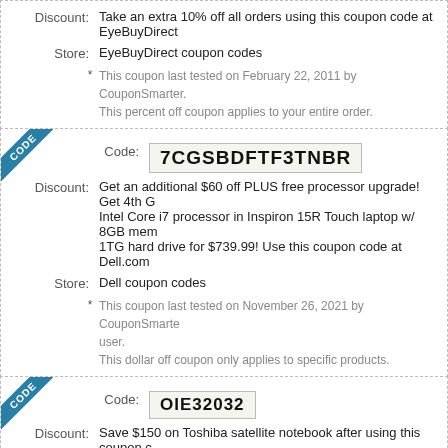Discount: Take an extra 10% off all orders using this coupon code at EyeBuyDirect
Store: EyeBuyDirect coupon codes
* This coupon last tested on February 22, 2011 by CouponSmarter. This percent off coupon applies to your entire order.
Code: 7CGSBDFTF3TNBR
Discount: Get an additional $60 off PLUS free processor upgrade! Get 4th Gen Intel Core i7 processor in Inspiron 15R Touch laptop w/ 8GB mem 1TG hard drive for $739.99! Use this coupon code at Dell.com
Store: Dell coupon codes
* This coupon last tested on November 26, 2021 by CouponSmarter user. This dollar off coupon only applies to specific products.
Code: OIE32032
Discount: Save $150 on Toshiba satellite notebook after using this coupon code at the checkout.